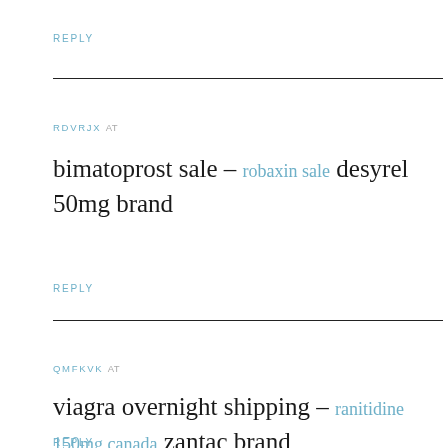REPLY
RDVRJX at
bimatoprost sale – robaxin sale desyrel 50mg brand
REPLY
QMFKVK at
viagra overnight shipping – ranitidine 150mg canada zantac brand
REPLY